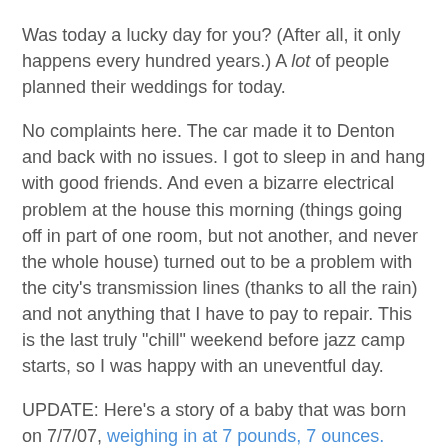Was today a lucky day for you? (After all, it only happens every hundred years.) A lot of people planned their weddings for today.
No complaints here. The car made it to Denton and back with no issues. I got to sleep in and hang with good friends. And even a bizarre electrical problem at the house this morning (things going off in part of one room, but not another, and never the whole house) turned out to be a problem with the city's transmission lines (thanks to all the rain) and not anything that I have to pay to repair. This is the last truly "chill" weekend before jazz camp starts, so I was happy with an uneventful day.
UPDATE: Here's a story of a baby that was born on 7/7/07, weighing in at 7 pounds, 7 ounces.
And now on to the usual cornucopia o' stuff; how 'bout some animal stories?
Another holiday leftover: An expected task after the Fourth